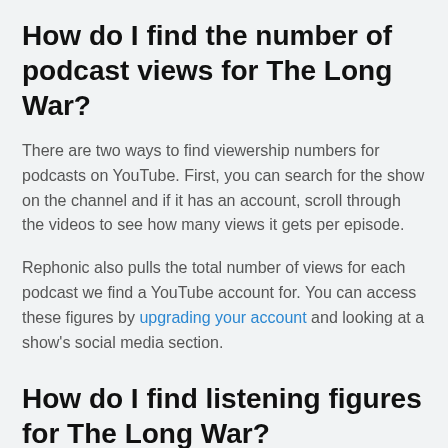How do I find the number of podcast views for The Long War?
There are two ways to find viewership numbers for podcasts on YouTube. First, you can search for the show on the channel and if it has an account, scroll through the videos to see how many views it gets per episode.
Rephonic also pulls the total number of views for each podcast we find a YouTube account for. You can access these figures by upgrading your account and looking at a show's social media section.
How do I find listening figures for The Long War?
Podcast streaming numbers or 'plays' are notoriously tricky to find. Fortunately, Rephonic provides estimated listener figures for The Long War and two million other podcasts in our database.
To check the content, please find further relevant listening...